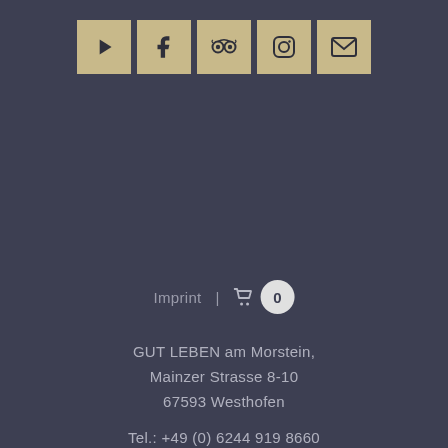[Figure (other): Row of 5 social media icon buttons (YouTube, Facebook, TripAdvisor, Instagram, Email) on tan/beige square backgrounds]
Imprint  |  🛒 0
GUT LEBEN am Morstein,
Mainzer Strasse 8-10
67593 Westhofen

Tel.: +49 (0) 6244 919 8660
Mobil: +49(0)160 – 99 26 26 62
Mail: gutleben@am-morstein.de